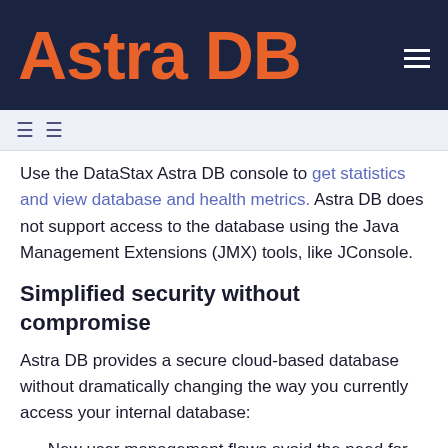Astra DB
Use the DataStax Astra DB console to get statistics and view database and health metrics. Astra DB does not support access to the database using the Java Management Extensions (JMX) tools, like JConsole.
Simplified security without compromise
Astra DB provides a secure cloud-based database without dramatically changing the way you currently access your internal database:
New user management flows avoid the need for superusers and global keyspace administration in CQL.